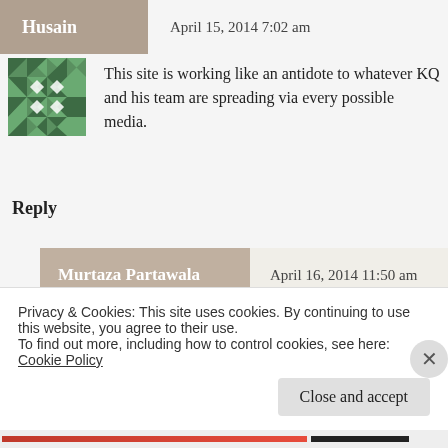Husain   April 15, 2014 7:02 am
[Figure (illustration): Green geometric mosaic avatar for user Husain]
This site is working like an antidote to whatever KQ and his team are spreading via every possible media.
Reply
Murtaza Partawala   April 16, 2014 11:50 am
[Figure (illustration): Green geometric mosaic avatar for user Murtaza Partawala]
Very well indeed explained...
Privacy & Cookies: This site uses cookies. By continuing to use this website, you agree to their use.
To find out more, including how to control cookies, see here: Cookie Policy